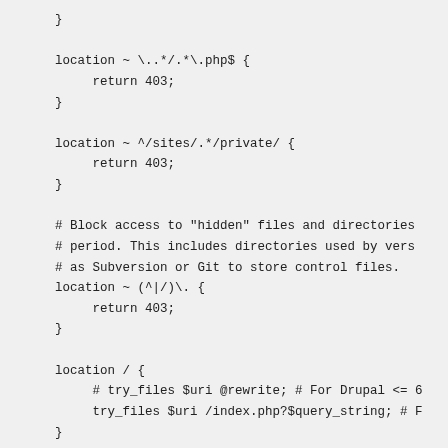}

location ~ \..*/.*\.php$ {
    return 403;
}

location ~ ^/sites/.*/private/ {
    return 403;
}

# Block access to "hidden" files and directories
# period. This includes directories used by vers
# as Subversion or Git to store control files.
location ~ (^|/)\. {
    return 403;
}

location / {
    # try_files $uri @rewrite; # For Drupal <= 6
    try_files $uri /index.php?$query_string; # F
}

location @rewrite {
    rewrite ^/(.*)$ /index.php?q=$1;